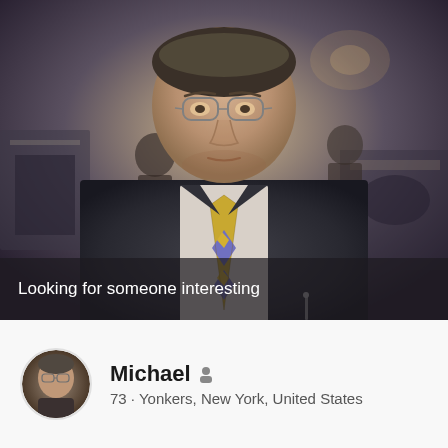[Figure (photo): Man in dark suit with yellow and purple patterned tie, standing in a banquet hall setting. He is middle-aged, wearing glasses, with a formal appearance. The background shows a decorated event venue.]
Looking for someone interesting
[Figure (photo): Small circular avatar thumbnail of an older man]
Michael
73 • Yonkers, New York, United States